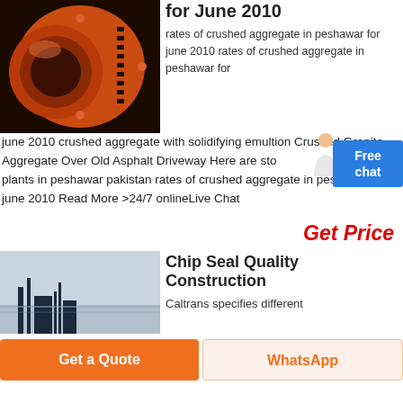[Figure (photo): Industrial orange ball mill or grinding machinery close-up photo]
for June 2010
rates of crushed aggregate in peshawar for june 2010 rates of crushed aggregate in peshawar for june 2010 crushed aggregate with solidifying emultion Crushed Granite Aggregate Over Old Asphalt Driveway Here are stone crushing plants in peshawar pakistan rates of crushed aggregate in peshawar for june 2010 Read More >24/7 onlineLive Chat
Get Price
[Figure (photo): Construction or chip seal road site photo with industrial equipment silhouetted against sky]
Chip Seal Quality Construction
Caltrans specifies different
Get a Quote
WhatsApp